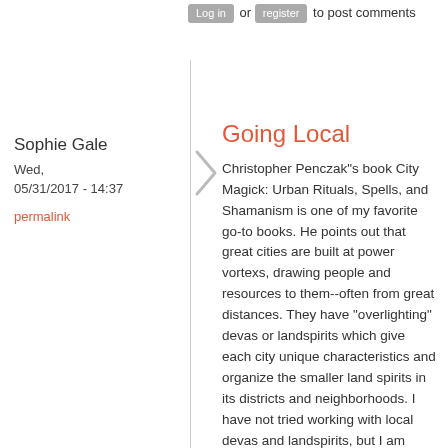Log in or register to post comments
Sophie Gale
Wed, 05/31/2017 - 14:37
permalink
Going Local
Christopher Penczak"s book City Magick: Urban Rituals, Spells, and Shamanism is one of my favorite go-to books. He points out that great cities are built at power vortexs, drawing people and resources to them--often from great distances. They have "overlighting" devas or landspirits which give each city unique characteristics and organize the smaller land spirits in its districts and neighborhoods. I have not tried working with local devas and landspirits, but I am intensely aware of some of them. Maybe